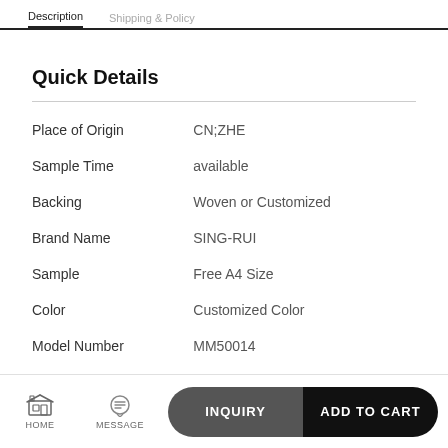Quick Details
|  |  |
| --- | --- |
| Place of Origin | CN;ZHE |
| Sample Time | available |
| Backing | Woven or Customized |
| Brand Name | SING-RUI |
| Sample | Free A4 Size |
| Color | Customized Color |
| Model Number | MM50014 |
HOME  MESSAGE  INQUIRY  ADD TO CART